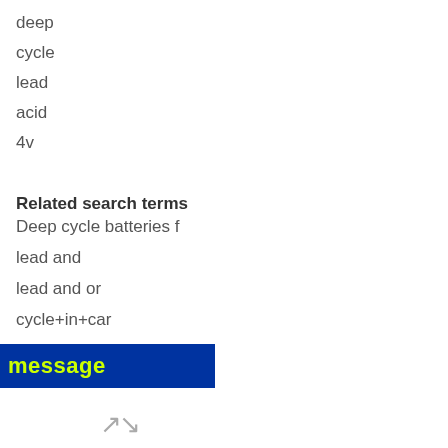deep
cycle
lead
acid
4v
Related search terms
Deep cycle batteries f
lead and
lead and or
cycle+in+car
cycle+85+amp
message